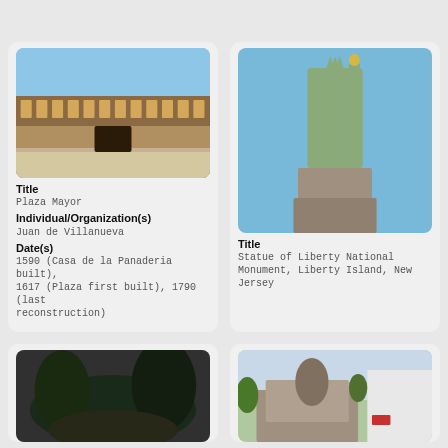[Figure (photo): Partial top of a card, cut off at top of page (left)]
[Figure (photo): Partial top of a card, cut off at top of page (right)]
[Figure (photo): Plaza Mayor, Madrid - large open square with historic building facade]
Title
Plaza Mayor
Individual/Organization(s)
Juan de Villanueva
Date(s)
1590 (Casa de la Panaderia built), 1617 (Plaza first built), 1790 (last reconstruction)
[Figure (photo): Statue of Liberty, Liberty Island, New Jersey - view from below looking up]
Title
Statue of Liberty National Monument, Liberty Island, New Jersey
[Figure (photo): Black and white photo of a park or garden scene with trees]
[Figure (photo): Color photo of a stone monument or statue base outdoors]